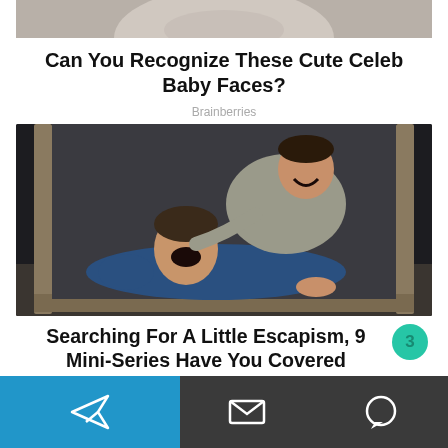[Figure (photo): Partial top image of a baby face, cropped at the top of the page]
Can You Recognize These Cute Celeb Baby Faces?
Brainberries
[Figure (photo): Two men laughing and wrestling/horsing around on the floor, viewed through a doorway in a dark room]
Searching For A Little Escapism, 9 Mini-Series Have You Covered
Navigation bar with send, message, and chat icons